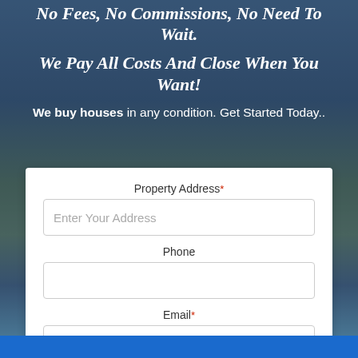No Fees, No Commissions, No Need To Wait.
We Pay All Costs And Close When You Want!
We buy houses in any condition. Get Started Today..
Property Address * [Enter Your Address] Phone Email *